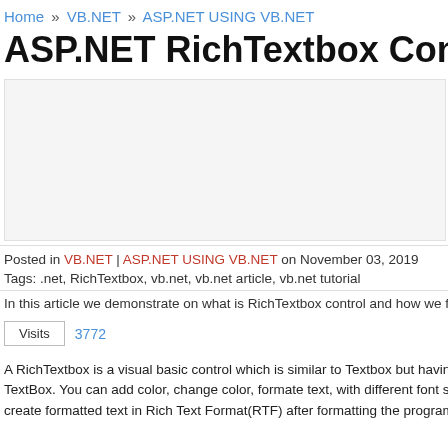Home » VB.NET » ASP.NET USING VB.NET
ASP.NET RichTextbox Control Using V
[Figure (other): Advertisement block]
Posted in VB.NET | ASP.NET USING VB.NET on November 03, 2019
Tags: .net, RichTextbox, vb.net, vb.net article, vb.net tutorial
In this article we demonstrate on what is RichTextbox control and how we format text in this
Visits   3772
A RichTextbox is a visual basic control which is similar to Textbox but having som TextBox. You can add color, change color, formate text, with different font size and s create formatted text in Rich Text Format(RTF) after formatting the program ca